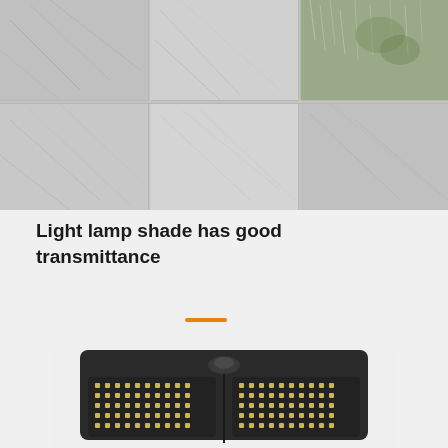[Figure (photo): Close-up photographs of a textured gray surface (lamp shade material) showing light transmittance and texture details, rain visible in top-right corner]
Light lamp shade has good transmittance
[Figure (photo): Solar LED outdoor wall lamp with motion sensor shown from front angle, dark housing with two LED panels visible at bottom portion of image]